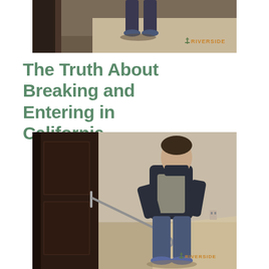[Figure (photo): Top cropped photo showing legs of a person walking through a doorway, viewed from behind, dark wooden door frame visible on the left, with a Riverside watermark logo in the lower right of the image.]
The Truth About Breaking and Entering in California
[Figure (photo): Photo of a man in a dark jacket and jeans using a crowbar to break open a brown wooden door in a room with light-colored walls and carpet. The Riverside watermark logo appears in the lower right corner.]